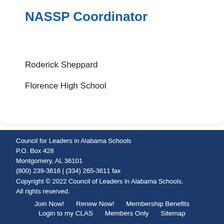NASSP Coordinator
Roderick Sheppard
Florence High School
Council for Leaders in Alabama Schools
P.O. Box 428
Montgomery, AL 36101
(800) 239-3616 | (334) 265-3611 fax
Copyright © 2022 Council of Leaders in Alabama Schools. All rights reserved.
Join Now!   Renew Now!   Membership Benefits
Login to my CLAS   Members Only   Sitemap